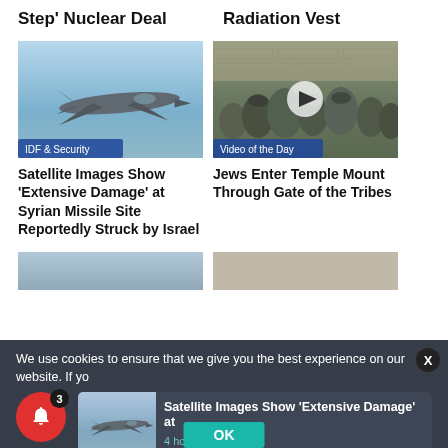Step' Nuclear Deal
Radiation Vest
[Figure (photo): F-35 fighter jet in flight against blue sky, labeled IDF & Security]
[Figure (photo): Crowd of Jewish worshippers at the Western Wall area, labeled Video of the Day with play button]
Satellite Images Show ‘Extensive Damage’ at Syrian Missile Site Reportedly Struck by Israel
Jews Enter Temple Mount Through Gate of the Tribes
[Figure (photo): Partially visible image bottom left]
[Figure (photo): Partially visible image bottom right]
We use cookies to ensure that we give you the best experience on our website. If yo
[Figure (photo): Thumbnail of F-35 jet in notification card]
Satellite Images Show ‘Extensive Damage’ at
4 hours ago
OK